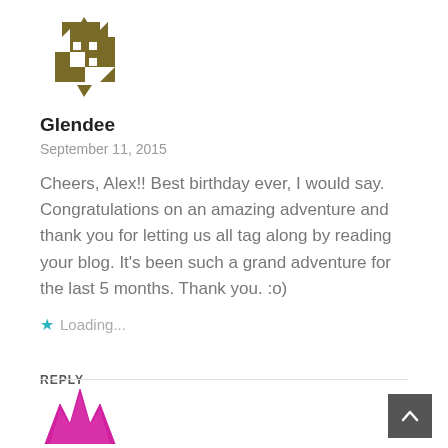[Figure (logo): Brown/olive geometric snowflake/cross logo icon for user Glendee]
Glendee
September 11, 2015
Cheers, Alex!! Best birthday ever, I would say. Congratulations on an amazing adventure and thank you for letting us all tag along by reading your blog. It's been such a grand adventure for the last 5 months. Thank you. :o)
★ Loading...
REPLY
[Figure (logo): Magenta/pink jagged crown or star-like logo icon partially visible at bottom]